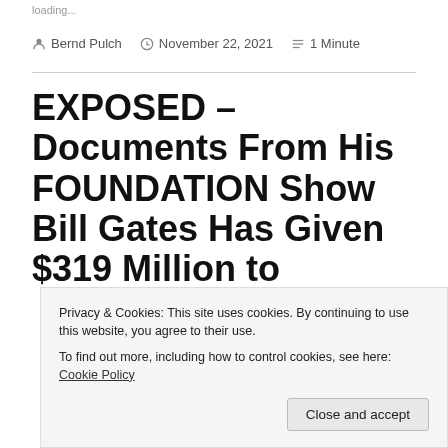loading...
Bernd Pulch   November 22, 2021   1 Minute
EXPOSED – Documents From His FOUNDATION Show Bill Gates Has Given $319 Million to
Privacy & Cookies: This site uses cookies. By continuing to use this website, you agree to their use.
To find out more, including how to control cookies, see here: Cookie Policy
Close and accept